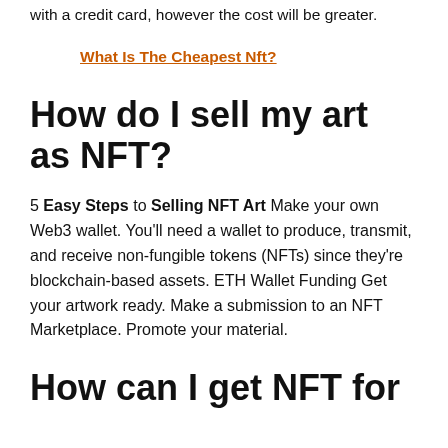with a credit card, however the cost will be greater.
What Is The Cheapest Nft?
How do I sell my art as NFT?
5 Easy Steps to Selling NFT Art Make your own Web3 wallet. You'll need a wallet to produce, transmit, and receive non-fungible tokens (NFTs) since they're blockchain-based assets. ETH Wallet Funding Get your artwork ready. Make a submission to an NFT Marketplace. Promote your material.
How can I get NFT for